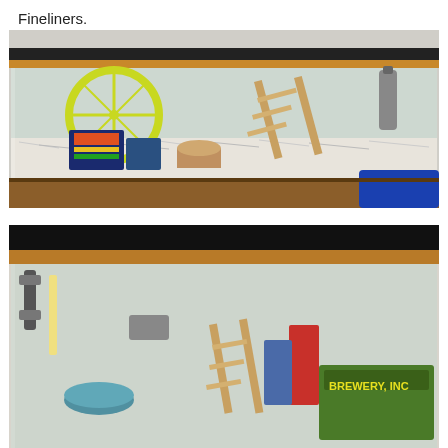Fineliners.
[Figure (photo): A glass aquarium tank with a wooden frame, containing a yellow hamster wheel, shredded paper bedding, cardboard boxes including a VHS tape box, wooden ladders and structures, and a water bottle. A blue plastic container is visible to the right of the tank.]
[Figure (photo): Close-up of the top of a glass aquarium tank with a black and wood-colored frame. Inside the tank are visible items including what appears to be a bowl, some boxes, wooden pieces, and a green 'BREWERY, INC' box in the lower right corner.]